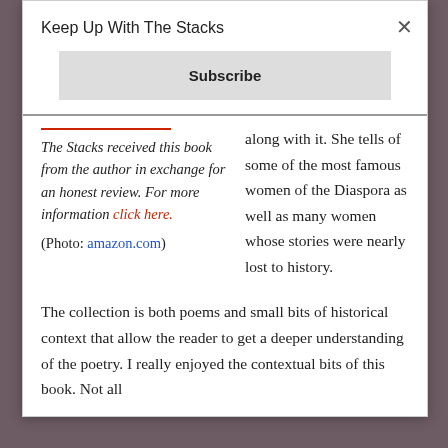Keep Up With The Stacks
Subscribe
The Stacks received this book from the author in exchange for an honest review. For more information click here. (Photo: amazon.com)
along with it. She tells of some of the most famous women of the Diaspora as well as many women whose stories were nearly lost to history.
The collection is both poems and small bits of historical context that allow the reader to get a deeper understanding of the poetry. I really enjoyed the contextual bits of this book. Not all